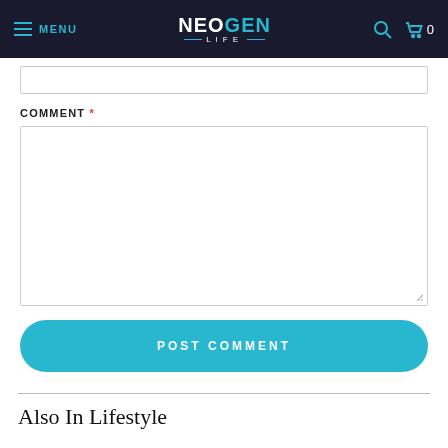MENU | NEOGEN LIFE | 0
COMMENT *
POST COMMENT
Also In Lifestyle